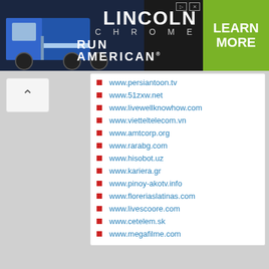[Figure (other): Lincoln Chrome advertisement banner with a blue truck on the left, 'LINCOLN CHROME / RUN AMERICAN' text in center, and green 'LEARN MORE' button on the right]
www.persiantoon.tv
www.51zxw.net
www.livewellknowhow.com
www.vietteltelecom.vn
www.amtcorp.org
www.rarabg.com
www.hisobot.uz
www.kariera.gr
www.pinoy-akotv.info
www.floreriaslatinas.com
www.livescoore.com
www.cetelem.sk
www.megafilme.com